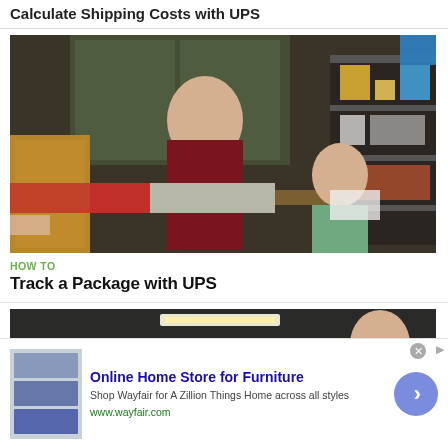Calculate Shipping Costs with UPS
[Figure (photo): Two men in an office/shipping room setting with cardboard boxes; one man in a maroon sweater holds a long flat box, another sits behind a desk in a green shirt]
HOW TO
Track a Package with UPS
[Figure (photo): Partial view of another video thumbnail showing men in a room with teal/turquoise chairs]
[Figure (advertisement): Ad for Wayfair Online Home Store for Furniture — Shop Wayfair for A Zillion Things Home across all styles — www.wayfair.com]